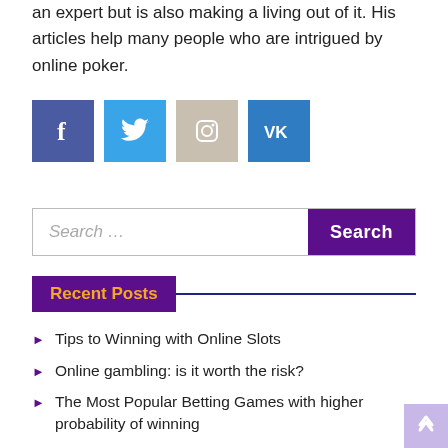an expert but is also making a living out of it. His articles help many people who are intrigued by online poker.
[Figure (infographic): Four social media icon buttons: Facebook (blue-purple), Twitter (blue), Instagram (beige/tan), VK (blue)]
[Figure (infographic): Search bar with placeholder 'Search ...' and a purple Search button]
Recent Posts
Tips to Winning with Online Slots
Online gambling: is it worth the risk?
The Most Popular Betting Games with higher probability of winning
Baccarat Glossary: Key Terms and Phrases